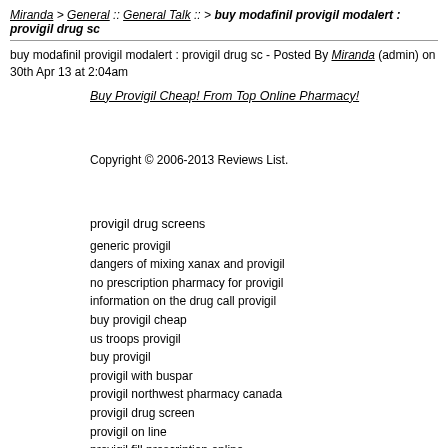Miranda > General :: General Talk :: > buy modafinil provigil modalert : provigil drug sc
buy modafinil provigil modalert : provigil drug sc - Posted By Miranda (admin) on 30th Apr 13 at 2:04am
Buy Provigil Cheap! From Top Online Pharmacy!
Copyright © 2006-2013 Reviews List.
provigil drug screens
generic provigil
dangers of mixing xanax and provigil
no prescription pharmacy for provigil
information on the drug call provigil
buy provigil cheap
us troops provigil
buy provigil
provigil with buspar
provigil northwest pharmacy canada
provigil drug screen
provigil on line
provigil fill prescription online
buy modafinil provigil modalert
provigil generic name
provigil 200 mg canada
provigil buying online
order no prescription provigil
generic modalert provigil
online consultation for provigil
what is viavan drug like provigil
buy cheap provigil express shipping
provigil with depakote